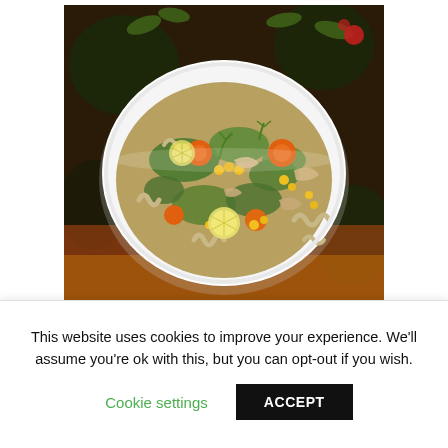[Figure (photo): A white bowl of chicken noodle soup with fusilli pasta, shredded chicken, carrots, corn, green celery, dill, and lemon slices, served on a decorative dark floral patterned cloth/rug with orange and red colors.]
It's Soup SZN! I am sharing my Chicken Noodle Soup recipe right here. I have a few
This website uses cookies to improve your experience. We'll assume you're ok with this, but you can opt-out if you wish.
Cookie settings
ACCEPT